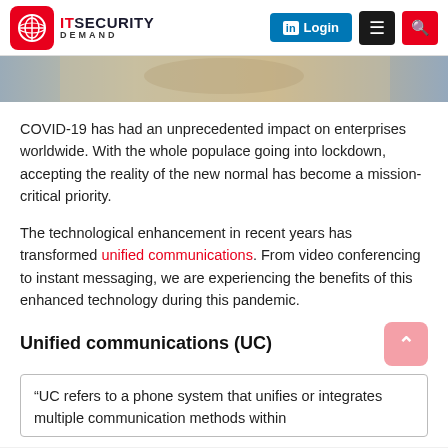IT Security Demand — Login, Menu, Search
[Figure (photo): Partial image strip showing blurred background photo]
COVID-19 has had an unprecedented impact on enterprises worldwide. With the whole populace going into lockdown, accepting the reality of the new normal has become a mission-critical priority.
The technological enhancement in recent years has transformed unified communications. From video conferencing to instant messaging, we are experiencing the benefits of this enhanced technology during this pandemic.
Unified communications (UC)
“UC refers to a phone system that unifies or integrates multiple communication methods within